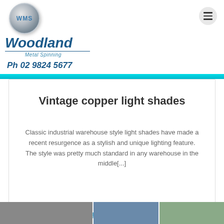[Figure (logo): Woodland Metal Spinning logo with WMS sphere, bold italic blue Woodland text, and phone number Ph 02 9824 5677]
Vintage copper light shades
Classic industrial warehouse style light shades have made a recent resurgence as a stylish and unique lighting feature. The style was pretty much standard in any warehouse in the middle[...]
Read more »
[Figure (photo): Three thumbnail images at the bottom of the page showing metal spinning related photos]